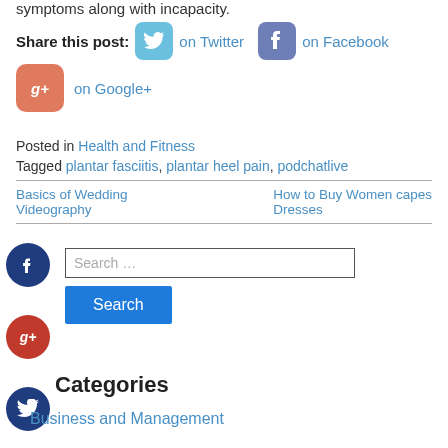symptoms along with incapacity.
Share this post: on Twitter on Facebook on Google+
Posted in Health and Fitness
Tagged plantar fasciitis, plantar heel pain, podchatlive
Basics of Wedding Videography
How to Buy Women capes Dresses
[Figure (screenshot): Social media share icons: Facebook circle, Google+ circle, Twitter circle, Plus circle, with search box and Search button]
Categories
Business and Management